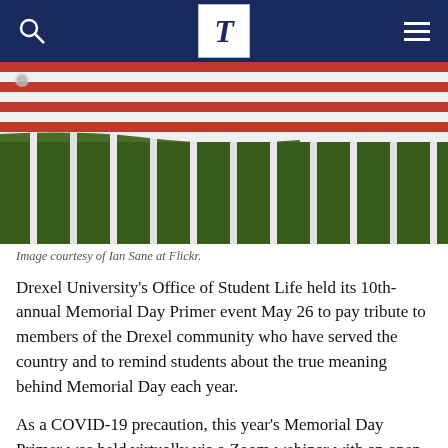T
[Figure (photo): American flag with red and white stripes waving, white poles in background, green grass visible.]
Image courtesy of Ian Sane at Flickr.
Drexel University's Office of Student Life held its 10th-annual Memorial Day Primer event May 26 to pay tribute to members of the Drexel community who have served the country and to remind students about the true meaning behind Memorial Day each year.
As a COVID-19 precaution, this year's Memorial Day Primer was held virtually via a Zoom webinar with an open invite. Although led online, the annual program featured all of its hallmark activities.